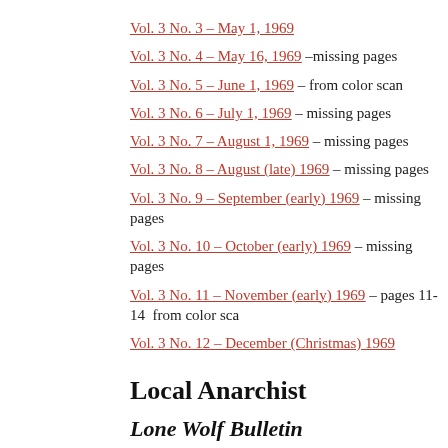Vol. 3 No. 3 – May 1, 1969
Vol. 3 No. 4 – May 16, 1969 –missing pages
Vol. 3 No. 5 – June 1, 1969 – from color scan
Vol. 3 No. 6 – July 1, 1969 – missing pages
Vol. 3 No. 7 – August 1, 1969 – missing pages
Vol. 3 No. 8 – August (late) 1969 – missing pages
Vol. 3 No. 9 – September (early) 1969 – missing pages
Vol. 3 No. 10 – October (early) 1969 – missing pages
Vol. 3 No. 11 – November (early) 1969 – pages 11-14  from color sca
Vol. 3 No. 12 – December (Christmas) 1969
Local Anarchist
Lone Wolf Bulletin